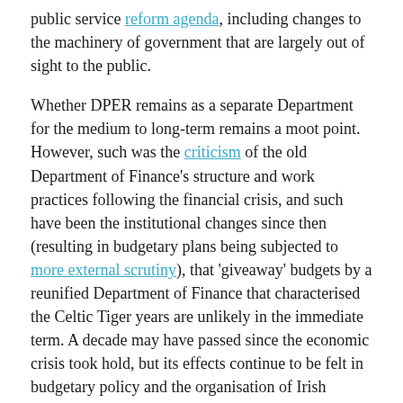public service reform agenda, including changes to the machinery of government that are largely out of sight to the public.
Whether DPER remains as a separate Department for the medium to long-term remains a moot point. However, such was the criticism of the old Department of Finance's structure and work practices following the financial crisis, and such have been the institutional changes since then (resulting in budgetary plans being subjected to more external scrutiny), that 'giveaway' budgets by a reunified Department of Finance that characterised the Celtic Tiger years are unlikely in the immediate term. A decade may have passed since the economic crisis took hold, but its effects continue to be felt in budgetary policy and the organisation of Irish government.